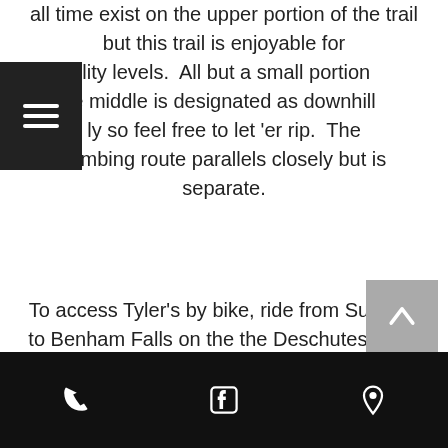all time exist on the upper portion of the trail but this trail is enjoyable for all ability levels.  All but a small portion of the middle is designated as downhill only so feel free to let 'er rip.  The climbing route parallels closely but is separate.
To access Tyler's by bike, ride from Sunriver to Benham Falls on the the Deschutes River Trail.  At the Benham West parking area begin climbing up a gravel road.  When you reach the intersection with Rd. 41 (asphalt) you will see the Tyler's Trailhead and you begin the ride from there.  By car, head west from Sunriver towards Mt. Bachelor.  A couple miles after crossing the river, look out for Forst Rd. #41 on the right.  Turn in here and
arrived and will see the trailhead on